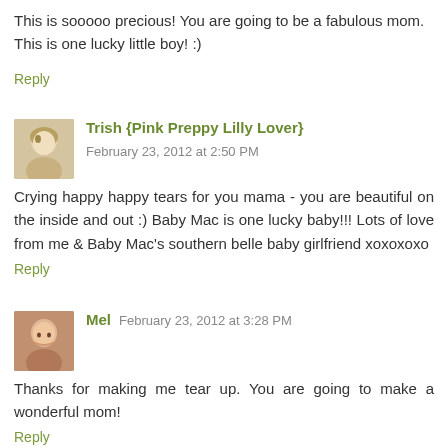This is sooooo precious! You are going to be a fabulous mom. This is one lucky little boy! :)
Reply
Trish {Pink Preppy Lilly Lover} — February 23, 2012 at 2:50 PM
Crying happy happy tears for you mama - you are beautiful on the inside and out :) Baby Mac is one lucky baby!!! Lots of love from me & Baby Mac's southern belle baby girlfriend xoxoxoxo
Reply
Mel — February 23, 2012 at 3:28 PM
Thanks for making me tear up. You are going to make a wonderful mom!
Reply